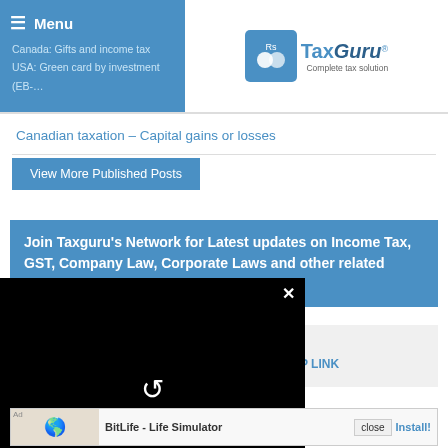Menu | Canada: Gifts and income tax | USA: Green card by investment (EB-5 program)
[Figure (logo): TaxGuru logo with icon and tagline 'Complete tax solution']
Canadian taxation – Capital gains or losses
View More Published Posts
Join Taxguru's Network for Latest updates on Income Tax, GST, Company Law, Corporate Laws and other related subjects.
Whatsapp GROUP LINK
Telegram GROUP LINK
[Figure (screenshot): Video player overlay (black) with close X button and loading spinner]
Review us on Google
[Figure (photo): BitLife - Life Simulator ad banner with close button and Install link]